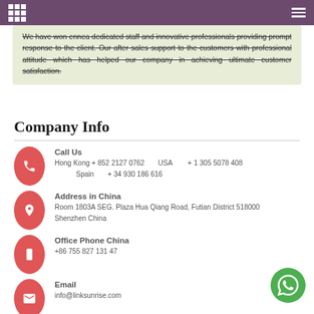[navigation bar with grid and hamburger icons]
We have won ennea dedicated staff and innovative professionals providing prompt response to the client. Our after sales support to the customers with professional attitude which has helped our company in achieving ultimate customer satisfaction.
Company Info
Call Us
Hong Kong + 852 2127 0762  USA  + 1 305 5078 408  Spain  + 34 930 186 616
Address in China
Room 1803A SEG. Plaza Hua Qiang Road, Futian District 518000 Shenzhen China
Office Phone China
+86 755 827 131 47
Email
info@linksunrise.com